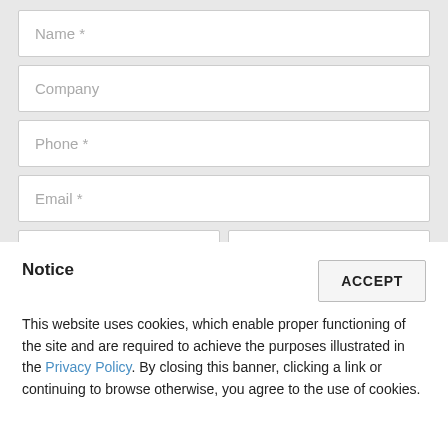Name *
Company
Phone *
Email *
Check In *
Check Out *
Notice
This website uses cookies, which enable proper functioning of the site and are required to achieve the purposes illustrated in the Privacy Policy. By closing this banner, clicking a link or continuing to browse otherwise, you agree to the use of cookies.